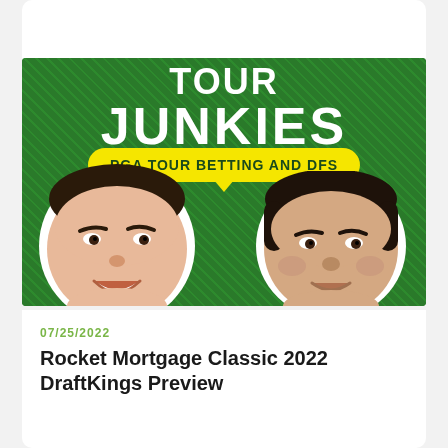[Figure (illustration): Tour Junkies podcast banner on green background. Shows bold white text 'TOUR JUNKIES' with a yellow speech-bubble pill reading 'PGA TOUR BETTING AND DFS', and two men's faces (cartoon-style cutouts) at the bottom left and right.]
07/25/2022
Rocket Mortgage Classic 2022 DraftKings Preview